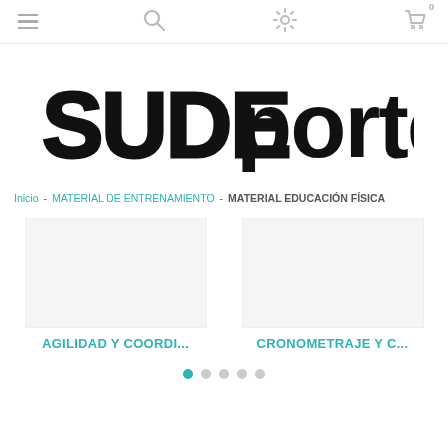[Figure (logo): SUDEporte logo — SUDE in bold outlined/grunge style, porte in plain bold black, all caps mixed]
Inicio - MATERIAL DE ENTRENAMIENTO - MATERIAL EDUCACIÓN FÍSICA
AGILIDAD Y COORDI...
CRONOMETRAJE Y C...